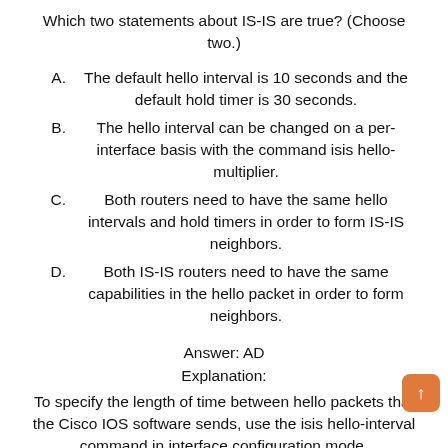Which two statements about IS-IS are true? (Choose two.)
A.    The default hello interval is 10 seconds and the default hold timer is 30 seconds.
B.    The hello interval can be changed on a per-interface basis with the command isis hello-multiplier.
C.    Both routers need to have the same hello intervals and hold timers in order to form IS-IS neighbors.
D.    Both IS-IS routers need to have the same capabilities in the hello packet in order to form neighbors.
Answer: AD
Explanation:
To specify the length of time between hello packets that the Cisco IOS software sends, use the isis hello-interval command in interface configuration mode.
By default, a value three times the hello interval...